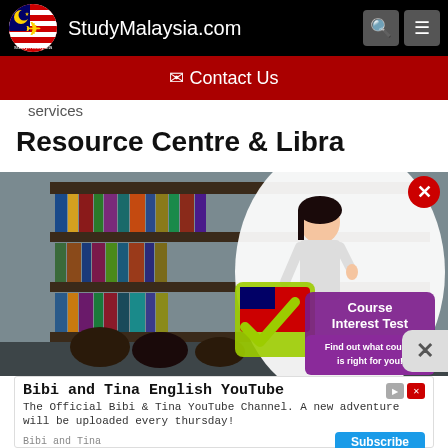StudyMalaysia.com
Contact Us
services
Resource Centre & Libra…
[Figure (photo): Library bookshelf with students studying, overlaid with a Course Interest Test advertisement featuring a Malaysian flag checkmark and a student thinking]
Bibi and Tina English YouTube
The Official Bibi & Tina YouTube Channel. A new adventure will be uploaded every thursday!
Bibi and Tina  Subscribe